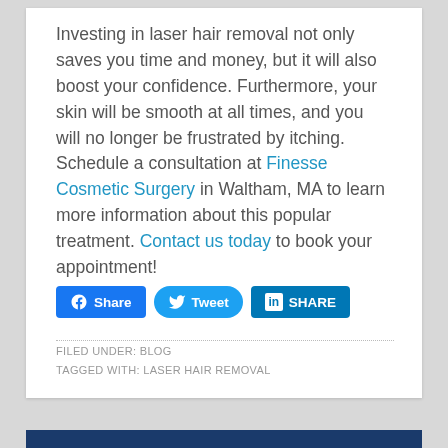Investing in laser hair removal not only saves you time and money, but it will also boost your confidence. Furthermore, your skin will be smooth at all times, and you will no longer be frustrated by itching. Schedule a consultation at Finesse Cosmetic Surgery in Waltham, MA to learn more information about this popular treatment. Contact us today to book your appointment!
[Figure (infographic): Social sharing buttons: Facebook Share, Twitter Tweet, LinkedIn SHARE]
FILED UNDER: BLOG
TAGGED WITH: LASER HAIR REMOVAL